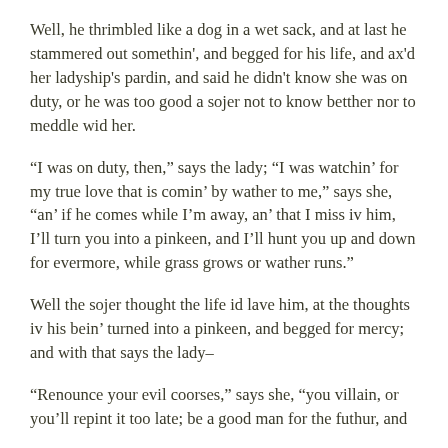Well, he thrimbled like a dog in a wet sack, and at last he stammered out somethin', and begged for his life, and ax'd her ladyship's pardin, and said he didn't know she was on duty, or he was too good a sojer not to know betther nor to meddle wid her.
“I was on duty, then,” says the lady; “I was watchin' for my true love that is comin' by wather to me,” says she, “an' if he comes while I'm away, an' that I miss iv him, I'll turn you into a pinkeen, and I'll hunt you up and down for evermore, while grass grows or wather runs.”
Well the sojer thought the life id lave him, at the thoughts iv his bein' turned into a pinkeen, and begged for mercy; and with that says the lady–
“Renounce your evil coorses,” says she, “you villain, or you'll repint it too late; be a good man for the futhur, and